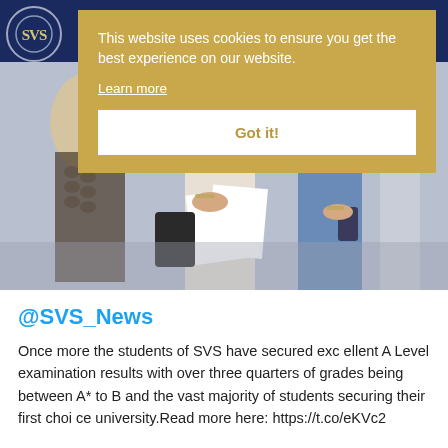[Figure (screenshot): Screenshot of a school website (SVS) with a dark navy navigation bar, SVS logo circle in top left, a cookie consent banner overlay in gold/tan color, and a photo of students holding papers below the banner.]
This website uses cookies to ensure you get the best experience on our website.
Learn more
Got it!
@SVS_News
Once more the students of SVS have secured excellent A Level examination results with over three quarters of grades being between A* to B and the vast majority of students securing their first choice university.Read more here: https://t.co/eKVc2